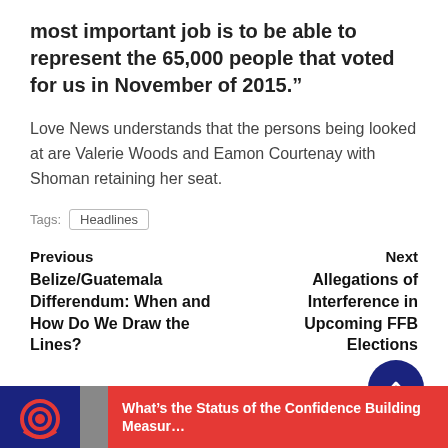most important job is to be able to represent the 65,000 people that voted for us in November of 2015.”
Love News understands that the persons being looked at are Valerie Woods and Eamon Courtenay with Shoman retaining her seat.
Tags: Headlines
Previous Belize/Guatemala Differendum: When and How Do We Draw the Lines?
Next Allegations of Interference in Upcoming FFB Elections
What’s the Status of the Confidence Building Measur…